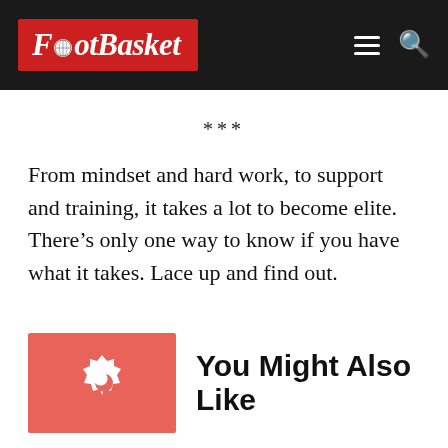FootBasket
***
From mindset and hard work, to support and training, it takes a lot to become elite. There’s only one way to know if you have what it takes. Lace up and find out.
You Might Also Like